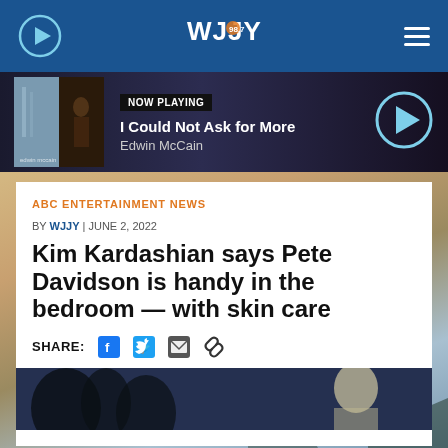WJJY Radio - Navigation bar with play button and menu
[Figure (screenshot): Now Playing bar showing Edwin McCain - I Could Not Ask for More with album art and play button]
ABC ENTERTAINMENT NEWS
BY WJJY | JUNE 2, 2022
Kim Kardashian says Pete Davidson is handy in the bedroom — with skin care
SHARE: [facebook] [twitter] [email] [link]
[Figure (photo): Article photo at bottom, partially visible, showing dark background with figures]